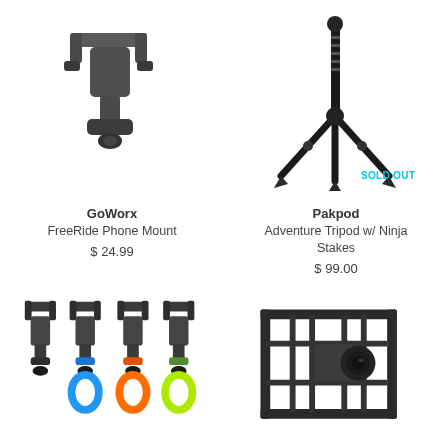[Figure (photo): GoWorx FreeRide Phone Mount product photo - dark gray phone mount bracket]
GoWorx
FreeRide Phone Mount
$ 24.99
[Figure (photo): Pakpod Adventure Tripod with Ninja Stakes product photo - black tripod with SOLD OUT label]
SOLD OUT
Pakpod
Adventure Tripod w/ Ninja Stakes
$ 99.00
[Figure (photo): Colorful phone mounts in blue, orange, and green/yellow colors]
[Figure (photo): Black camera cage/rig accessory product photo]